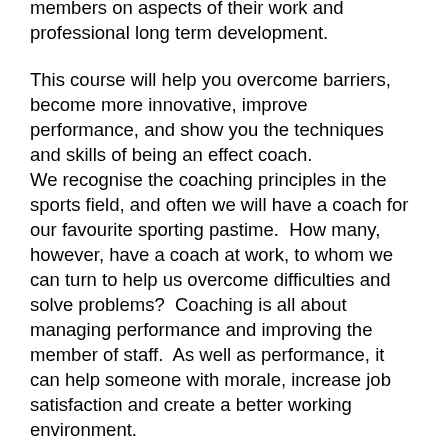members on aspects of their work and professional long term development.
This course will help you overcome barriers, become more innovative, improve performance, and show you the techniques and skills of being an effect coach. We recognise the coaching principles in the sports field, and often we will have a coach for our favourite sporting pastime.  How many, however, have a coach at work, to whom we can turn to help us overcome difficulties and solve problems?  Coaching is all about managing performance and improving the member of staff.  As well as performance, it can help someone with morale, increase job satisfaction and create a better working environment.
Generally at work the majority of our communication and relationships should run smoothly. Most of our staff will perform effectively and competently, however with some we will experience difficulties. It is important in these situations to understand how we should behave as a manager.
The course examines the more difficult or complex people and situations and how we can address issues whilst at the same time maintaining good relationships. It gets the delegates to reflect on their own personal styles and how they work with others. It focuses